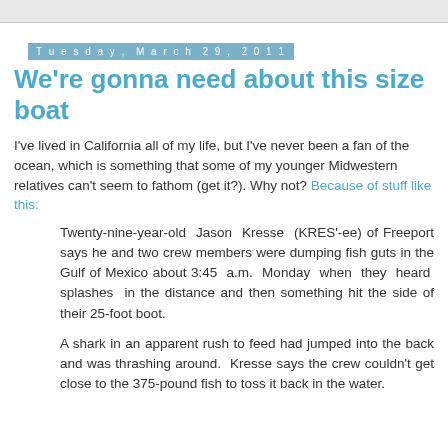Tuesday, March 29, 2011
We're gonna need about this size boat
I've lived in California all of my life, but I've never been a fan of the ocean, which is something that some of my younger Midwestern relatives can't seem to fathom (get it?). Why not? Because of stuff like this:
Twenty-nine-year-old Jason Kresse (KRES'-ee) of Freeport says he and two crew members were dumping fish guts in the Gulf of Mexico about 3:45 a.m. Monday when they heard splashes in the distance and then something hit the side of their 25-foot boot.
A shark in an apparent rush to feed had jumped into the back and was thrashing around. Kresse says the crew couldn't get close to the 375-pound fish to toss it back in the water.